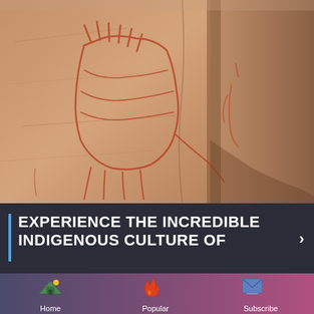[Figure (photo): Rock art / cave painting on a sandstone wall showing indigenous ochre painted figures including what appears to be an animal or creature with spikes, against a rocky canyon background]
EXPERIENCE THE INCREDIBLE INDIGENOUS CULTURE OF
[Figure (infographic): Bottom navigation bar with four items: Home (tent icon), Popular (flame icon), Subscribe (envelope icon), Menu (document icon)]